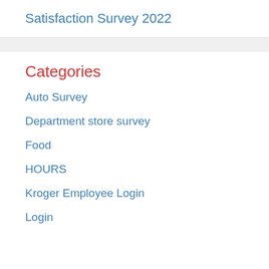Satisfaction Survey 2022
Categories
Auto Survey
Department store survey
Food
HOURS
Kroger Employee Login
Login